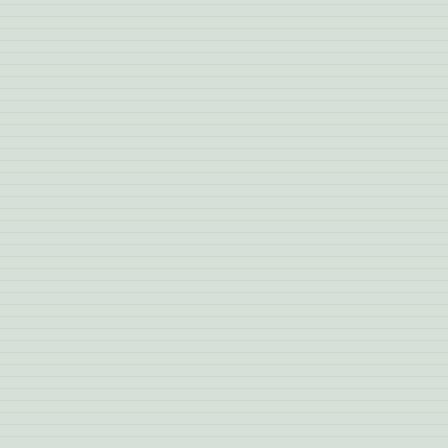Please apply below and submit the fol
(1) Cover letter
(2) Current CV with three references wh
(3) A research and teaching statement v environment (4-page limit)
In the above documents, please embed meet the educational and access needs
Review of applicants will begin immedia search committee, Dr. Michelle Nario-R
Hiram College is an equal opportunity e
https://www.higheredjobs.com/search/d Professor%20of%20Psychology
Return to Top